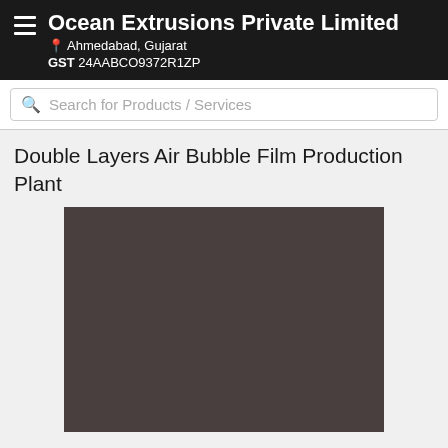Ocean Extrusions Private Limited
Ahmedabad, Gujarat
GST 24AABCO9372R1ZP
Search for Products / Services
Double Layers Air Bubble Film Production Plant
[Figure (photo): Product image placeholder — dark brownish-gray rectangle representing a product photo of Double Layers Air Bubble Film Production Plant]